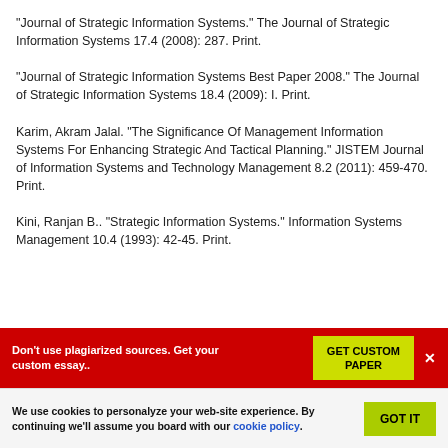“Journal of Strategic Information Systems.” The Journal of Strategic Information Systems 17.4 (2008): 287. Print.
“Journal of Strategic Information Systems Best Paper 2008.” The Journal of Strategic Information Systems 18.4 (2009): I. Print.
Karim, Akram Jalal. “The Significance Of Management Information Systems For Enhancing Strategic And Tactical Planning.” JISTEM Journal of Information Systems and Technology Management 8.2 (2011): 459-470. Print.
Kini, Ranjan B.. “Strategic Information Systems.” Information Systems Management 10.4 (1993): 42-45. Print.
Don’t use plagiarized sources. Get your custom essay..
GET CUSTOM PAPER
We use cookies to personalyze your web-site experience. By continuing we’ll assume you board with our cookie policy.
GOT IT